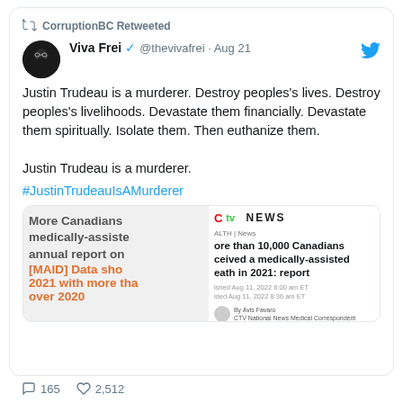CorruptionBC Retweeted
Viva Frei @thevivafrei · Aug 21
Justin Trudeau is a murderer. Destroy peoples's lives. Destroy peoples's livelihoods. Devastate them financially. Devastate them spiritually. Isolate them. Then euthanize them.

Justin Trudeau is a murderer.
#JustinTrudeauIsAMurderer
[Figure (screenshot): Embedded media card showing a blurred article thumbnail on the left and a CTV News article on the right: 'More than 10,000 Canadians received a medically-assisted death in 2021: report']
165  2,512